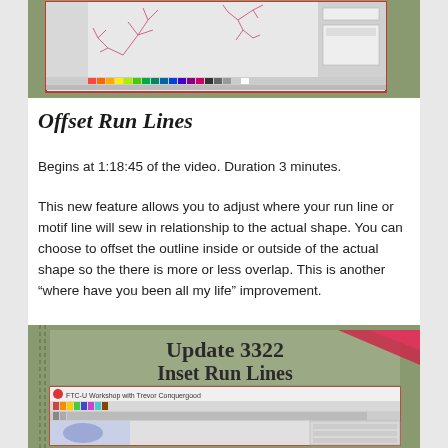[Figure (screenshot): Screenshot of embroidery software showing branch/tree stitch patterns on a light background with toolbar and color palette at bottom]
Offset Run Lines
Begins at 1:18:45 of the video.  Duration 3 minutes.
This new feature allows you to adjust where your run line or motif line will sew in relationship to the actual shape.  You can choose to offset the outline inside or outside of the actual shape so the there is more or less overlap.  This is another “where have you been all my life” improvement.
[Figure (screenshot): Screenshot showing 'Update 3322 Inset Run Lines' title slide with FTC-U Workshop with Trevor Conquergood software interface below showing embroidery design tools and a blue embroidery motif]